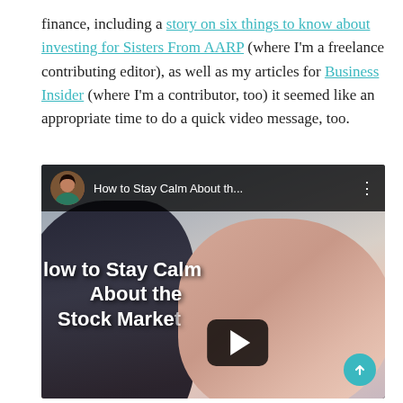finance, including a story on six things to know about investing for Sisters From AARP (where I'm a freelance contributing editor), as well as my articles for Business Insider (where I'm a contributor, too) it seemed like an appropriate time to do a quick video message, too.
[Figure (screenshot): YouTube video thumbnail showing a woman's face with dark hair, with overlay text reading 'How to Stay Calm About the Stock Market' and a play button in the center. The video bar at the top shows a circular avatar photo, the title 'How to Stay Calm About th...' and a three-dot menu. A teal scroll-to-top button appears in the bottom right corner.]